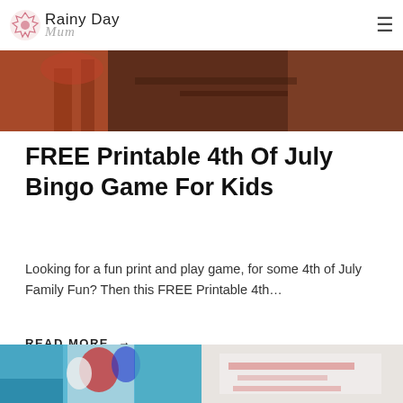Rainy Day Mum
[Figure (photo): Top banner photo showing craft/art supplies on a wooden surface]
FREE Printable 4th Of July Bingo Game For Kids
Looking for a fun print and play game, for some 4th of July Family Fun? Then this FREE Printable 4th…
READ MORE →
[Figure (photo): Two thumbnail images at bottom: left shows 4th of July themed items, right shows a light-colored printable]